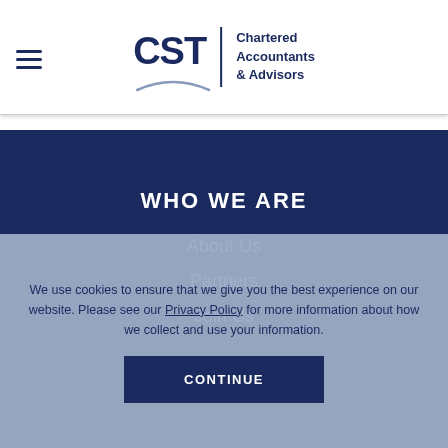[Figure (logo): CST Chartered Accountants & Advisors logo with hamburger menu icon]
WHO WE ARE
About Us
Partners
Join Us
We use cookies to ensure that we give you the best experience on our website. Please see our Privacy Policy for more information about how we collect and use your information.
CONTINUE